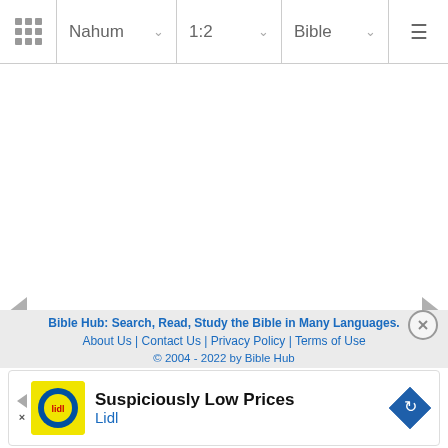Nahum | 1:2 | Bible
[Figure (screenshot): White content area (blank/loading state for Bible passage)]
Bible Hub: Search, Read, Study the Bible in Many Languages.
About Us | Contact Us | Privacy Policy | Terms of Use
© 2004 - 2022 by Bible Hub
[Figure (infographic): Advertisement banner: Suspiciously Low Prices - Lidl]